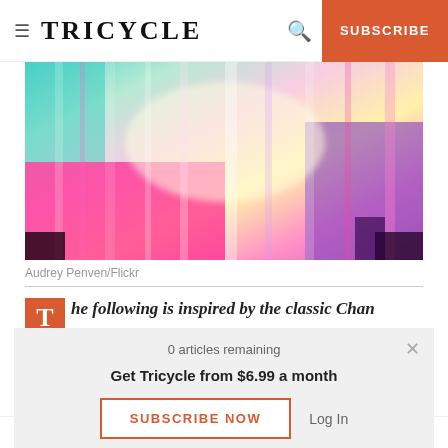≡ TRICYCLE  🔍  SUBSCRIBE
[Figure (photo): Abstract colorful blurred vertical light streaks in pink, purple, teal, and green tones]
Audrey Penven/Flickr
The following is inspired by the classic Chan
0 articles remaining
Get Tricycle from $6.99 a month
SUBSCRIBE NOW   Log In
Exacting no effort to seek or shun, judge fair or foul